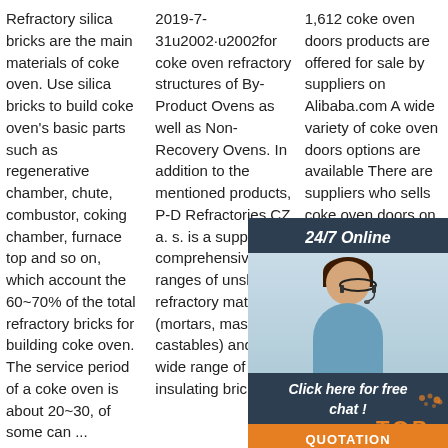Refractory silica bricks are the main materials of coke oven. Use silica bricks to build coke oven's basic parts such as regenerative chamber, chute, combustor, coking chamber, furnace top and so on, which account the 60~70% of the total refractory bricks for building coke oven. The service period of a coke oven is about 20~30, of some can ...
2019-7-31u2002·u2002for coke oven refractory structures of By-Product Ovens as well as Non-Recovery Ovens. In addition to the mentioned products, P-D Refractories CZ a. s. is a supplier of comprehensive ranges of unshaped refractory materials (mortars, mastics, castables) and the wide range of insulating bricks
1,612 coke oven doors products are offered for sale by suppliers on Alibaba.com A wide variety of coke oven doors options are available There are suppliers who sells coke oven doors on Alibaba mainly from Asia. The top countries of supplier is China, from which the percentage of coke oven doors supply is 100%.
[Figure (other): 24/7 Online chat widget with woman wearing headset, 'Click here for free chat!' button and orange QUOTATION button]
[Figure (other): Orange TOP button with decorative dots]